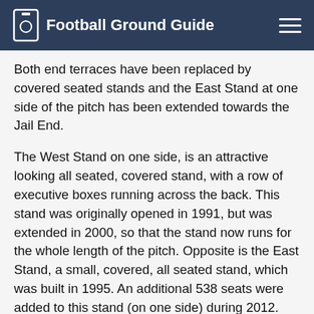Football Ground Guide
Both end terraces have been replaced by covered seated stands and the East Stand at one side of the pitch has been extended towards the Jail End.
The West Stand on one side, is an attractive looking all seated, covered stand, with a row of executive boxes running across the back. This stand was originally opened in 1991, but was extended in 2000, so that the stand now runs for the whole length of the pitch. Opposite is the East Stand, a small, covered, all seated stand, which was built in 1995. An additional 538 seats were added to this stand (on one side) during 2012. Both ends are covered seated stands that were opened in 2012. The larger of these is the North Stand, which is given to away supporters. This smart looking single tiered stand is free of supporting